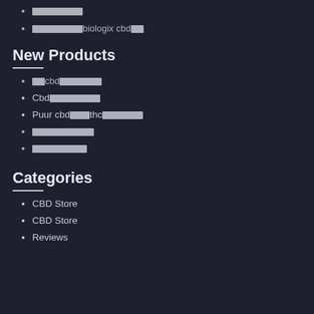████████████
████████████biologix cbd███
New Products
███cbd█████████
Cbd██████████
Puur cbd████thc█████████
██████████████
█████████████
Categories
CBD Store
CBD Store
Reviews